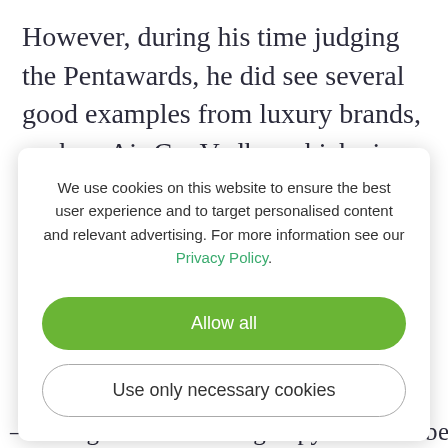However, during his time judging the Pentawards, he did see several good examples from luxury brands, such as Air Co. Vodka, which aims to be the most sustainable alcohol brand in the world. It has a packaging programme that is 100%reusable
We use cookies on this website to ensure the best user experience and to target personalised content and relevant advertising. For more information see our Privacy Policy.
Allow all
Use only necessary cookies
...g ... an amazing copy... this is best...